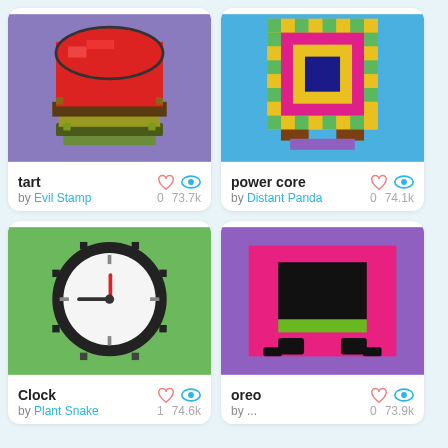[Figure (illustration): Pixel art of a red tart/pie on a purple background]
tart
by Evil Stamp
0   73.7k
[Figure (illustration): Pixel art of a colorful power core on a blue background]
power core
by Distant Panda
0   74.1k
[Figure (illustration): Pixel art of a clock on a green background]
Clock
by Plant Snake
1   74.6k
[Figure (illustration): Pixel art of oreo-like character on a purple background with hot pink rectangle]
oreo
by ...
0   73.9k